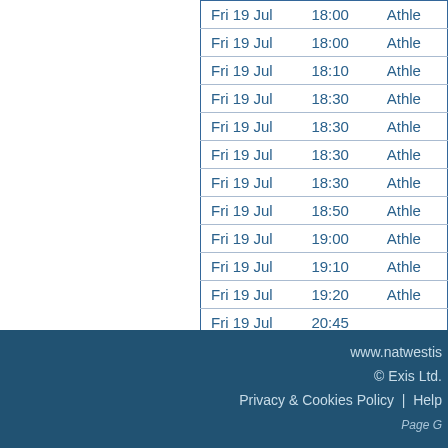| Date | Time | Sport |
| --- | --- | --- |
| Fri 19 Jul | 18:00 | Athle |
| Fri 19 Jul | 18:00 | Athle |
| Fri 19 Jul | 18:10 | Athle |
| Fri 19 Jul | 18:30 | Athle |
| Fri 19 Jul | 18:30 | Athle |
| Fri 19 Jul | 18:30 | Athle |
| Fri 19 Jul | 18:30 | Athle |
| Fri 19 Jul | 18:50 | Athle |
| Fri 19 Jul | 19:00 | Athle |
| Fri 19 Jul | 19:10 | Athle |
| Fri 19 Jul | 19:20 | Athle |
| Fri 19 Jul | 20:45 |  |
www.natwestis © Exis Ltd. Privacy & Cookies Policy | Help Page G